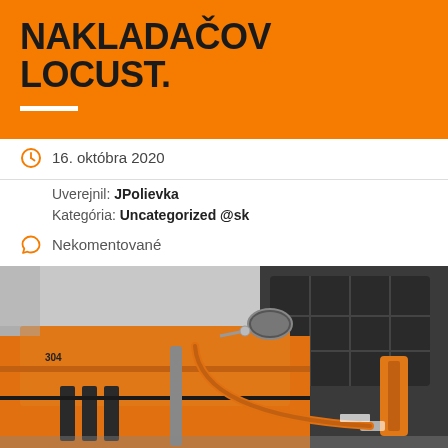NAKLADAČOV LOCUST.
16. októbra 2020
Uverejnil: JPolievka
Kategória: Uncategorized @sk
Nekomentované
[Figure (photo): Close-up photo of an orange Locust forklift/loader machine, showing the cab, mirror, hydraulic arm, and orange body. The machine appears to be a compact loader.]